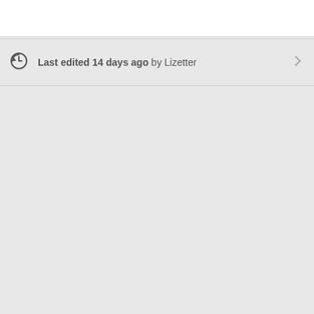Last edited 14 days ago by Lizetter